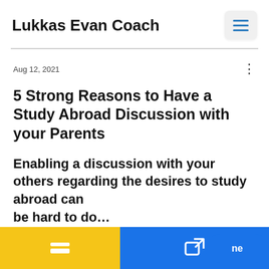Lukkas Evan Coach
Aug 12, 2021
5 Strong Reasons to Have a Study Abroad Discussion with your Parents
Enabling a discussion with your others regarding the desires to study abroad can be hard to do…